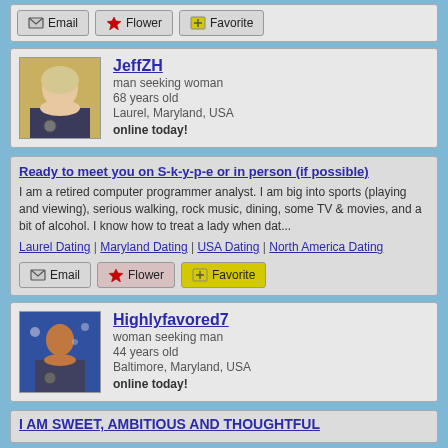Email | Flower | Favorite (buttons at top)
JeffZH
man seeking woman
68 years old
Laurel, Maryland, USA
online today!
Ready to meet you on S-k-y-p-e or in person (if possible)
I am a retired computer programmer analyst. I am big into sports (playing and viewing), serious walking, rock music, dining, some TV & movies, and a bit of alcohol. I know how to treat a lady when dat...
Laurel Dating | Maryland Dating | USA Dating | North America Dating
Email | Flower | Favorite (buttons)
Highlyfavored7
woman seeking man
44 years old
Baltimore, Maryland, USA
online today!
I AM SWEET, AMBITIOUS AND THOUGHTFUL